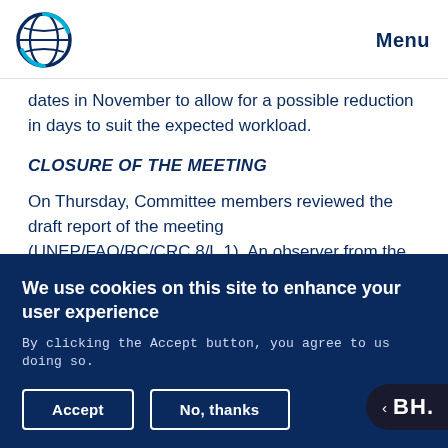Menu
dates in November to allow for a possible reduction in days to suit the expected workload.
CLOSURE OF THE MEETING
On Thursday, Committee members reviewed the draft report of the meeting (UNEP/FAO/RC/CRC.8/L.1). An observer from the US queried why the new process excludes observer
We use cookies on this site to enhance your user experience
By clicking the Accept button, you agree to us doing so.
Accept
No, thanks